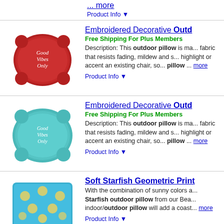... more
Product Info ▼
Embroidered Decorative Outd...
Free Shipping For Plus Members
[Figure (photo): Red decorative outdoor pillow with 'Good Vibes Only' embroidery]
Description: This outdoor pillow is ma... fabric that resists fading, mildew and s... highlight or accent an existing chair, so... pillow ... more
Product Info ▼
Embroidered Decorative Outd...
Free Shipping For Plus Members
[Figure (photo): Teal/blue decorative outdoor pillow with 'Good Vibes Only' embroidery]
Description: This outdoor pillow is ma... fabric that resists fading, mildew and s... highlight or accent an existing chair, so... pillow ... more
Product Info ▼
Soft Starfish Geometric Print...
[Figure (photo): Blue outdoor pillow with starfish geometric print pattern]
With the combination of sunny colors a... Starfish outdoor pillow from our Bea... indoor/outdoor pillow will add a coast... more
Product Info ▼
Soft Starfish Geometric Print...
[Figure (photo): Light colored outdoor pillow with starfish geometric print]
With the combination of sunny colors a...